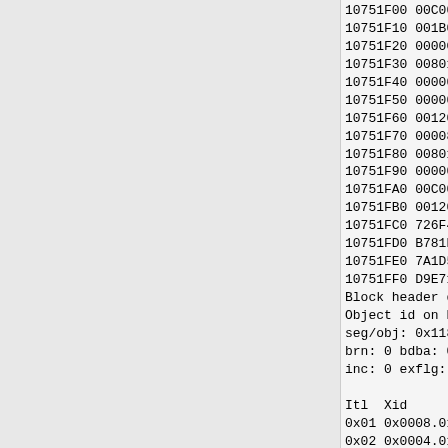10751F00 00C00
10751F10 001B00
10751F20 0000C0
10751F30 00801D
10751F40 000000
10751F50 000000
10751F60 001200
10751F70 000080
10751F80 008010
10751F90 000000
10751FA0 00C00A
10751FB0 001200
10751FC0 726F4F
10751FD0 B781D0
10751FE0 7A1D5F
10751FF0 D9E710
Block header d
Object id on B.
seg/obj: 0x118a
brn: 0 bdba: 0x
inc: 0 exflg: 0

Itl  Xid
0x01 0x0008.010
0x02 0x0004.01a